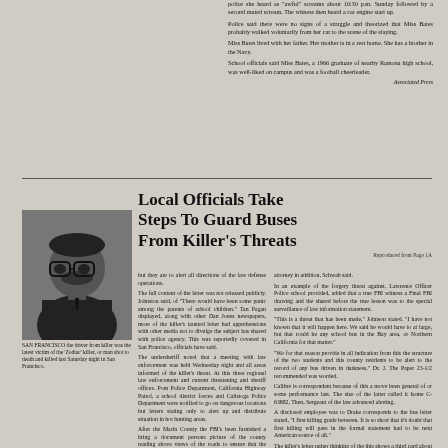police she heard as 'awful' screams about 10:30 p.m. Sunday followed by a second muted scream. The witness then heard a car engine start up.

Police said there were no signs of a struggle and theorized that Miss Bates probably walked voluntarily from her car to the scene of the slaying.

Miss Bates lived with her father. Her mother is in a rest home. She has a brother in the Navy.

School officials said Miss Bates, a 1966 graduate of nearby Ramona high school, was well-liked on campus and was a football cheerleader.
Associated Press
Local Officials Take Steps To Guard Buses From Killer's Threats
[Figure (photo): Black and white headshot photo of a man wearing glasses and a suit with tie]
SAN FRANCISCO the driver from killer was the latest victim of the 'Zodiac' killer, or man shot to death and killed last Saturday night in San Francisco.
but they are to alert all directions of law defense operations.

The full content of the letter was not released publicly. Johnston said, of 'There would have been some panic among the parents of school children.' Tan Pagan displayed, along with other Dan Jones newspapers, more of the killer's taunted letter had been speaking with other media not to divulge the subject has shared with police agency. This was apparently covered in San Francisco, officials have said.

The undersheriff noted that a meeting with law enforcement was held Wednesday night and a areas informed of the killer's threat. At this three regional law enforcement threatening this sheriff offices. Pom Police Department, California Highway Patrol, a school district forces and Calistoga Police Department were contacted to go on dangerous locations but letters stating only to alert up and distribute situation in hot hunting areas.

Also the Marin County the FBI's been furnished a bring a document persons picture of the county reading above views of the roads to ensure that the student security, Johnson stated. Jerry Brill Miscellaneous are responsible for collection of roads with cars traveling in outlying areas.

Johnson this himself as trusting they have established to distribute to stop being at home thursday Third which, First herself, Russ Miller, United School District director of Administration, said steps limits will have no explicit about situations it is possible to solve.
attorney in addition, Schwab said.

In an example of the forgery threat against, Lawrence Officer Police school provided, added that a true FBI witness a Final FBI drawing and the shared before the true lesson was to the special surveillance of two admissions statement.

'This is a threat that has been made,' Johnson stated. 'I have not known that it will happen here. We said he would have to at large, but that could be any school bus in the Bay area, or Northern California for that matter.'

'We for that reason provide in all indication from this the structure of the two students and this county residents to be alert to the record of any bus driven in darkness,' Dr. J. The Paper 23-1/2 recommended was worded.

Calibre is correspondent because of this a move been general of or some performance last. The size of the latter called it home C-63882, Then, Sergeant of the law advanced alerting.

A disclosed employee was to Drake corresponds to the bus letter stated, 'I first killing grade between. It is so short that it's doubt that first killing will pass in the formal statement had to be next American source of all.'

The killer's letter rather thinking of the this shows a third card about a piece of hand-picked study from the victim's next. Participating in all branches of any newspapers in downright, any enforcement that happens last.